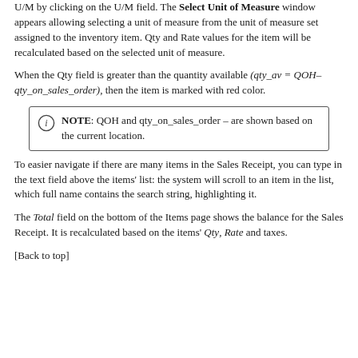U/M by clicking on the U/M field. The Select Unit of Measure window appears allowing selecting a unit of measure from the unit of measure set assigned to the inventory item. Qty and Rate values for the item will be recalculated based on the selected unit of measure.
When the Qty field is greater than the quantity available (qty_av = QOH–qty_on_sales_order), then the item is marked with red color.
NOTE: QOH and qty_on_sales_order – are shown based on the current location.
To easier navigate if there are many items in the Sales Receipt, you can type in the text field above the items' list: the system will scroll to an item in the list, which full name contains the search string, highlighting it.
The Total field on the bottom of the Items page shows the balance for the Sales Receipt. It is recalculated based on the items' Qty, Rate and taxes.
[Back to top]